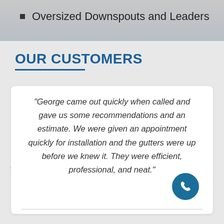Oversized Downspouts and Leaders
OUR CUSTOMERS
“George came out quickly when called and gave us some recommendations and an estimate. We were given an appointment quickly for installation and the gutters were up before we knew it. They were efficient, professional, and neat.”
Barbara N.,
Gutter Installation -Westchester